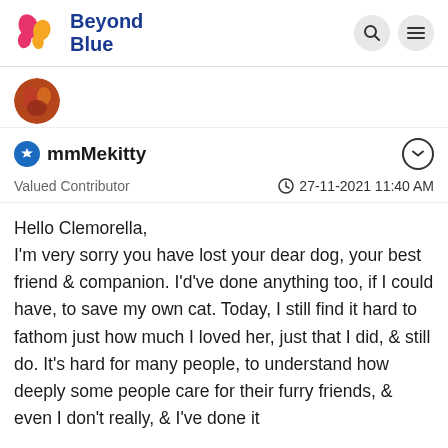Beyond Blue
[Figure (photo): User avatar - partial circular profile image showing reddish/orange tones]
mmMekitty
Valued Contributor   27-11-2021 11:40 AM
Hello Clemorella,
I'm very sorry you have lost your dear dog, your best friend & companion. I'd've done anything too, if I could have, to save my own cat. Today, I still find it hard to fathom just how much I loved her, just that I did, & still do. It's hard for many people, to understand how deeply some people care for their furry friends, & even I don't really, & I've done it